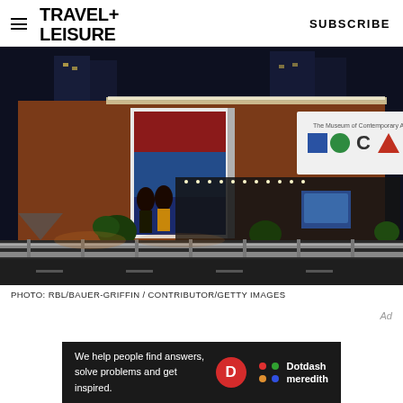TRAVEL+ LEISURE   SUBSCRIBE
[Figure (photo): Night exterior photo of The Museum of Contemporary Art (MOCA) building, showing the illuminated brick facade, MOCA signage with colored geometric shapes, and an artwork displayed on the left side of the entrance.]
PHOTO: RBL/BAUER-GRIFFIN / CONTRIBUTOR/GETTY IMAGES
[Figure (infographic): Dotdash Meredith advertisement banner: 'We help people find answers, solve problems and get inspired.' with Dotdash Meredith logo.]